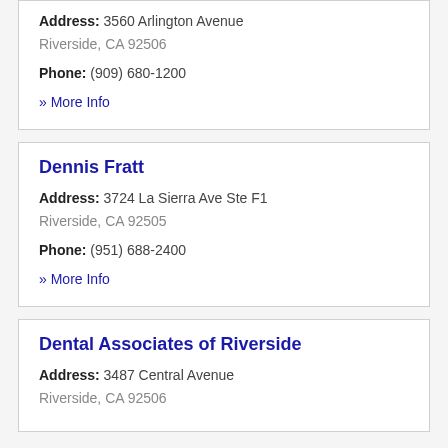Address: 3560 Arlington Avenue
Riverside, CA 92506
Phone: (909) 680-1200
» More Info
Dennis Fratt
Address: 3724 La Sierra Ave Ste F1
Riverside, CA 92505
Phone: (951) 688-2400
» More Info
Dental Associates of Riverside
Address: 3487 Central Avenue
Riverside, CA 92506